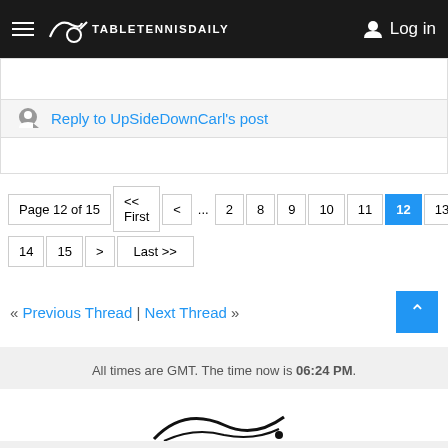TableTennisDaily — Log in
Reply to UpSideDownCarl's post
Page 12 of 15  << First  <  ...  2  8  9  10  11  12  13  14  15  >  Last >>
« Previous Thread | Next Thread »
All times are GMT. The time now is 06:24 PM.
[Figure (logo): TableTennisDaily logo (bottom of page)]